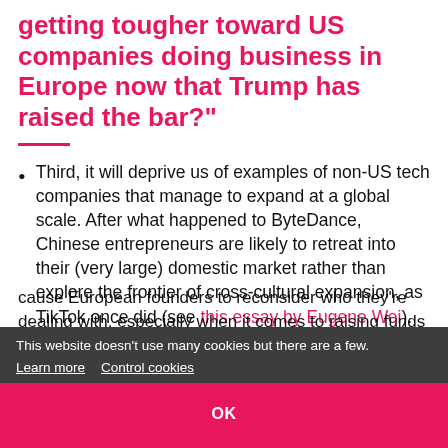getting tougher toward US companies doing business in Europe now that Trump has raised the bar?"
Third, it will deprive us of examples of non-US tech companies that manage to expand at a global scale. After what happened to ByteDance, Chinese entrepreneurs are likely to retreat into their (very large) domestic market rather than explore the frontier of cross-cultural expansion, as TikTok once did (see this essay by Eugene Wei). We Europeans will be left with less inspiration when it comes to international expansion that isn't driven by Silicon Valley.
This website doesn't use many cookies but there are a few. Learn more  Control cookies
OK
cause European founders to reconsider who they're dealing with, especially when it comes to raising funds and how it relates to their international expansion. Maybe it will become hazardous to